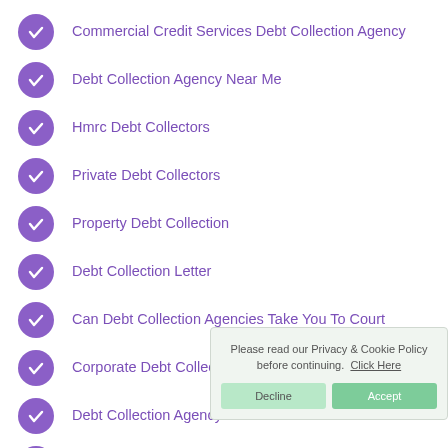Commercial Credit Services Debt Collection Agency
Debt Collection Agency Near Me
Hmrc Debt Collectors
Private Debt Collectors
Property Debt Collection
Debt Collection Letter
Can Debt Collection Agencies Take You To Court
Corporate Debt Collection Services
Debt Collection Agency Uk
Top 10 Debt Collection Agencies
Can A Debt Collector Refuse A Payment Plan Uk